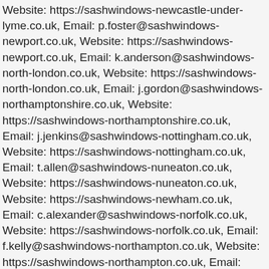Website: https://sashwindows-newcastle-under-lyme.co.uk, Email: p.foster@sashwindows-newport.co.uk, Website: https://sashwindows-newport.co.uk, Email: k.anderson@sashwindows-north-london.co.uk, Website: https://sashwindows-north-london.co.uk, Email: j.gordon@sashwindows-northamptonshire.co.uk, Website: https://sashwindows-northamptonshire.co.uk, Email: j.jenkins@sashwindows-nottingham.co.uk, Website: https://sashwindows-nottingham.co.uk, Email: t.allen@sashwindows-nuneaton.co.uk, Website: https://sashwindows-nuneaton.co.uk, Website: https://sashwindows-newham.co.uk, Email: c.alexander@sashwindows-norfolk.co.uk, Website: https://sashwindows-norfolk.co.uk, Email: f.kelly@sashwindows-northampton.co.uk, Website: https://sashwindows-northampton.co.uk, Email: r.coleman@sashwindows-norwich.co.uk, Website: https://sashwindows-norwich.co.uk, Email: j.sanders@sashwindows-nottinghamshire.co.uk, Website: